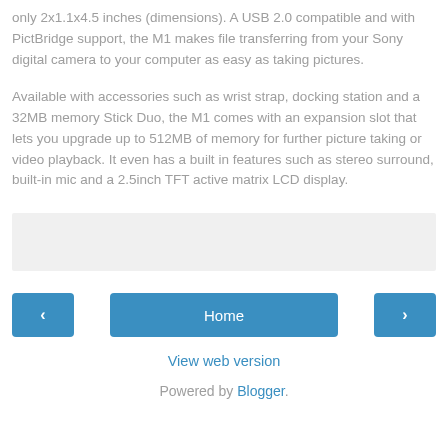only 2x1.1x4.5 inches (dimensions). A USB 2.0 compatible and with PictBridge support, the M1 makes file transferring from your Sony digital camera to your computer as easy as taking pictures.
Available with accessories such as wrist strap, docking station and a 32MB memory Stick Duo, the M1 comes with an expansion slot that lets you upgrade up to 512MB of memory for further picture taking or video playback. It even has a built in features such as stereo surround, built-in mic and a 2.5inch TFT active matrix LCD display.
[Figure (other): Gray advertisement placeholder box]
< Home >
View web version
Powered by Blogger.